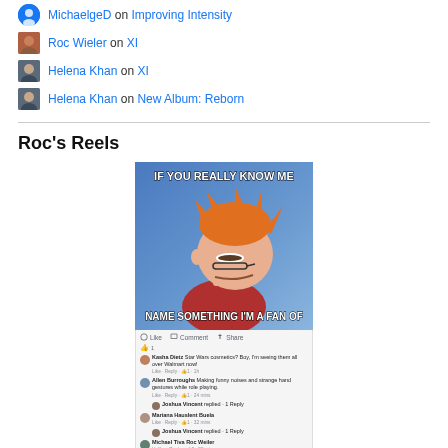MichaelgeD on Improving Intensity
Roc Wieler on XI
Helena Khan on XI
Helena Khan on New Album: Reborn
Roc's Reels
[Figure (screenshot): A Facebook post showing a Futurama Fry meme with text 'IF YOU REALLY KNOW ME NAME SOMETHING I'M A FAN OF', with Facebook comments below including reactions from multiple users.]
More Photos